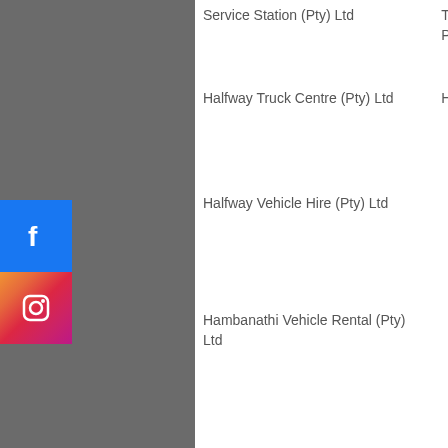| Company | Branch | Registration | Contact |
| --- | --- | --- | --- |
| Service Station (Pty) Ltd | Toyota Park Rynie / Caltex Park Rynie |  | Email: [link] |
| Halfway Truck Centre (Pty) Ltd | Hino Shelly Beach | 2013/044027/07 | Shane Grant Email: [link] |
| Halfway Vehicle Hire (Pty) Ltd |  | 2015/380432/07 | Shane Grant Email: shane[link] |
| Hambanathi Vehicle Rental (Pty) Ltd |  | 2013/071632/07 | Shane Grant Email: shane[link] |
[Figure (logo): Facebook logo icon - blue square with white F]
[Figure (logo): Instagram logo icon - gradient square with camera icon]